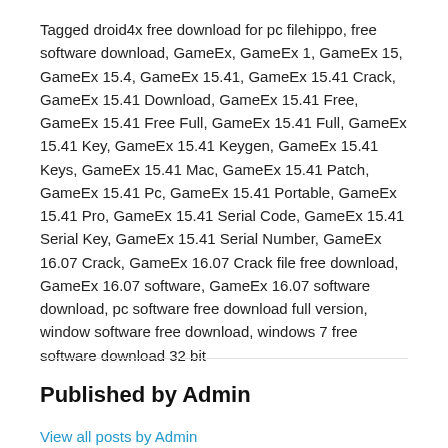Tagged droid4x free download for pc filehippo, free software download, GameEx, GameEx 1, GameEx 15, GameEx 15.4, GameEx 15.41, GameEx 15.41 Crack, GameEx 15.41 Download, GameEx 15.41 Free, GameEx 15.41 Free Full, GameEx 15.41 Full, GameEx 15.41 Key, GameEx 15.41 Keygen, GameEx 15.41 Keys, GameEx 15.41 Mac, GameEx 15.41 Patch, GameEx 15.41 Pc, GameEx 15.41 Portable, GameEx 15.41 Pro, GameEx 15.41 Serial Code, GameEx 15.41 Serial Key, GameEx 15.41 Serial Number, GameEx 16.07 Crack, GameEx 16.07 Crack file free download, GameEx 16.07 software, GameEx 16.07 software download, pc software free download full version, window software free download, windows 7 free software download 32 bit
Published by Admin
View all posts by Admin